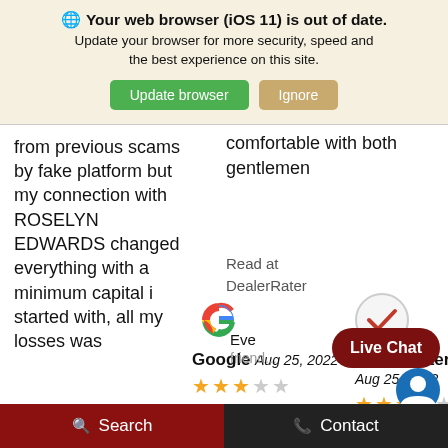🌐 Your web browser (iOS 11) is out of date. Update your browser for more security, speed and the best experience on this site.
Update browser | Ignore
from previous scams by fake platform but my connection with ROSELYN EDWARDS changed everything with a minimum capital i started with, all my losses was
comfortable with both gentlemen
Read at DealerRater
[Figure (logo): Google logo (multicolor G)]
Google Aug 25, 2022 ★★★☆☆ ★★☆
[Figure (logo): DealerRater logo (checkmark in circle)]
DealerRater Aug 25, 2022 ★★★★☆
Live Chat
Eve...
friend...
Search  Contact